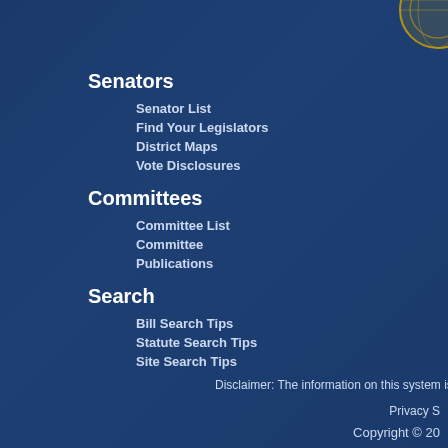Senators
Senator List
Find Your Legislators
District Maps
Vote Disclosures
Committees
Committee List
Committee
Publications
Search
Bill Search Tips
Statute Search Tips
Site Search Tips
Session
Bills
Calendars
Journals
Appropriations
Conferences
Reports
Executive
Appointments
Executive
Suspensions
Redistricting
Laws
Statutes
Constitution
Laws of Florida
Order - Legistore
Media
Pre
Pub
Vid
Top
Vid
Sch
About
Em
Vis
Con
Pag
Disclaimer: The information on this system is unverified. The journals o
Privacy S
Copyright © 20